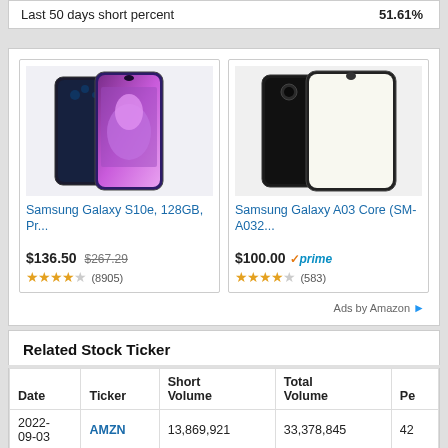| Last 50 days short percent | 51.61% |
| --- | --- |
[Figure (screenshot): Amazon product ads showing two Samsung Galaxy phones: Samsung Galaxy S10e 128GB (price $136.50, was $267.29, 4 stars, 8905 reviews) and Samsung Galaxy A03 Core SM-A032 (price $100.00 Prime, 4 stars, 583 reviews).]
Related Stock Ticker
| Date | Ticker | Short Volume | Total Volume | Pe |
| --- | --- | --- | --- | --- |
| 2022-09-03 | AMZN | 13,869,921 | 33,378,845 | 42 |